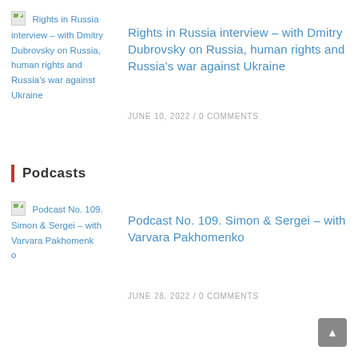[Figure (other): Broken image thumbnail for Rights in Russia interview article]
Rights in Russia interview – with Dmitry Dubrovsky on Russia, human rights and Russia's war against Ukraine
JUNE 10, 2022 / 0 COMMENTS
Podcasts
[Figure (other): Broken image thumbnail for Podcast No. 109 article]
Podcast No. 109. Simon & Sergei – with Varvara Pakhomenko
JUNE 28, 2022 / 0 COMMENTS